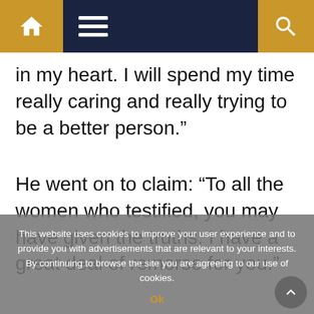[Navigation bar with home icon, menu icon, and search icon]
in my heart. I will spend my time really caring and really trying to be a better person.”
He went on to claim: “To all the women who testified, you may have given the truths. I have a great deal of remorse for you.”
Incredibly, the most heinous part — “wonderful time” with those who accused him of assault.
This website uses cookies to improve your user experience and to provide you with advertisements that are relevant to your interests. By continuing to browse the site you are agreeing to our use of cookies.
Ok